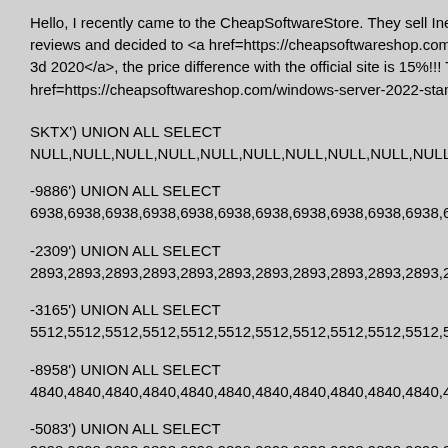Hello, I recently came to the CheapSoftwareStore. They sell Inexper reviews and decided to <a href=https://cheapsoftwareshop.com/auto 3d 2020</a>, the price difference with the official site is 15%!!! Tell u href=https://cheapsoftwareshop.com/windows-server-2022-standarc
SKTX') UNION ALL SELECT NULL,NULL,NULL,NULL,NULL,NULL,NULL,NULL,NULL,NULL,NUL
-9886') UNION ALL SELECT 6938,6938,6938,6938,6938,6938,6938,6938,6938,6938,6938,6938,
-2309') UNION ALL SELECT 2893,2893,2893,2893,2893,2893,2893,2893,2893,2893,2893,2893,
-3165') UNION ALL SELECT 5512,5512,5512,5512,5512,5512,5512,5512,5512,5512,5512,5512,
-8958') UNION ALL SELECT 4840,4840,4840,4840,4840,4840,4840,4840,4840,4840,4840,4840,
-5083') UNION ALL SELECT 9898,9898,9898,9898,9898,9898,9898,9898,9898,9898,9898,9898,
-9458') UNION ALL SELECT 8266,8266,8266,8266,8266,8266,8266,8266,8266,8266,8266,8266,